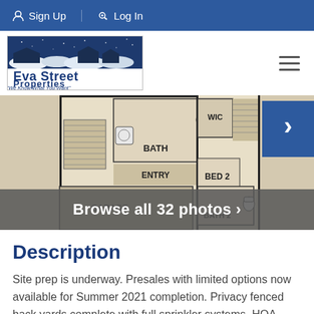Sign Up  Log In
[Figure (logo): Eva Street Properties logo with house silhouette against night sky and tagline 'We Know What You Want']
[Figure (engineering-diagram): Partial floor plan showing KITCHEN, BATH, ENTRY, GARAGE, WIC, BED 2, BATH 2 rooms]
Browse all 32 photos ›
Description
Site prep is underway. Presales with limited options now available for Summer 2021 completion. Privacy fenced back yards complete with full sprinkler systems. HOA maintains exterior. Located across the street from San Gabriel Park, the community will